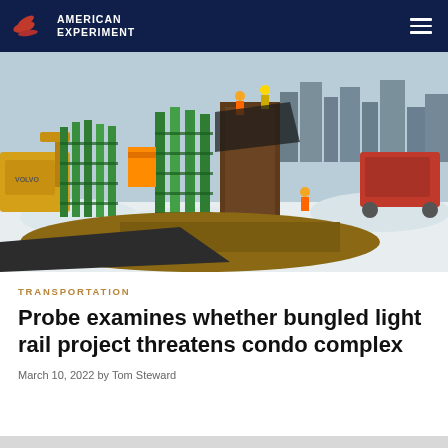American Experiment
[Figure (photo): Construction workers on a winter light rail construction site with green rebar cages, heavy equipment including a Volvo excavator, snowy ground, and a city skyline visible in the background.]
TRANSPORTATION
Probe examines whether bungled light rail project threatens condo complex
March 10, 2022 by Tom Steward